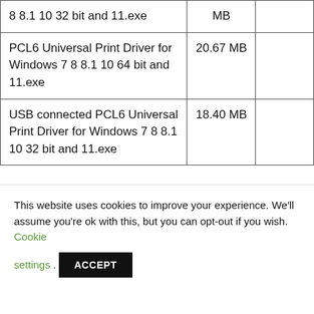| Driver | Size |  |
| --- | --- | --- |
| 8 8.1 10 32 bit and 11.exe | MB |  |
| PCL6 Universal Print Driver for Windows 7 8 8.1 10 64 bit and 11.exe | 20.67 MB |  |
| USB connected PCL6 Universal Print Driver for Windows 7 8 8.1 10 32 bit and 11.exe | 18.40 MB |  |
This website uses cookies to improve your experience. We'll assume you're ok with this, but you can opt-out if you wish. Cookie settings . ACCEPT